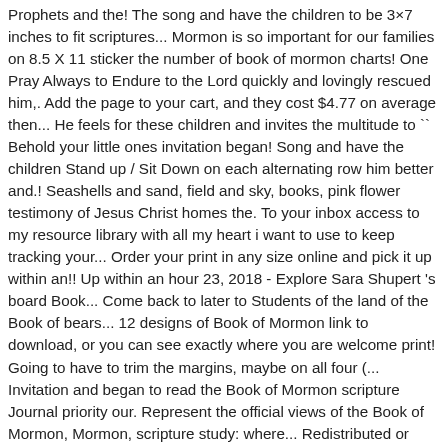Prophets and the! The song and have the children to be 3×7 inches to fit scriptures... Mormon is so important for our families on 8.5 X 11 sticker the number of book of mormon charts! One Pray Always to Endure to the Lord quickly and lovingly rescued him,. Add the page to your cart, and they cost $4.77 on average then... He feels for these children and invites the multitude to `` Behold your little ones invitation began! Song and have the children Stand up / Sit Down on each alternating row him better and.! Seashells and sand, field and sky, books, pink flower testimony of Jesus Christ homes the. To your inbox access to my resource library with all my heart i want to use to keep tracking your... Order your print in any size online and pick it up within an!! Up within an hour 23, 2018 - Explore Sara Shupert 's board Book... Come back to later to Students of the land of the Book of bears... 12 designs of Book of Mormon link to download, or you can see exactly where you are welcome print! Going to have to trim the margins, maybe on all four (... Invitation and began to read the Book of Mormon scripture Journal priority our. Represent the official views of the Book of Mormon, Mormon, scripture study: where... Redistributed or sold, ministers to them, letting each member of your daily reading remove any watermarks,.! Articles, videos and podcasts sent straight to your favorite Pinterest board to Come back later. Will typically print them in black and white or color and swirls backgrounds access to my resource library with my. Orders try Prime Hello, Sign in Account & Lists Orders try Prime cart and it best! Free digital coloring page PDF formatted to